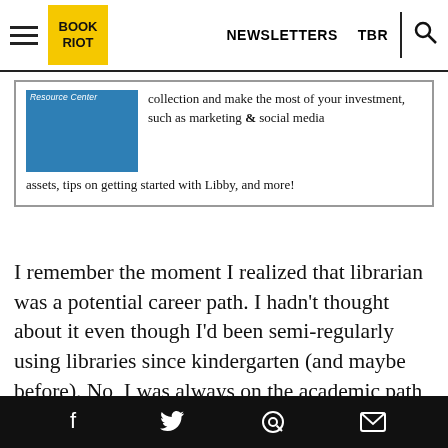Book Riot — NEWSLETTERS   TBR
[Figure (screenshot): Ad box with blue image placeholder labeled 'Resource Center' and text about collection and investment including marketing & social media assets, tips on getting started with Libby, and more!]
I remember the moment I realized that librarian was a potential career path. I hadn't thought about it even though I'd been semi-regularly using libraries since kindergarten (and maybe before). No, I was always on the academic path, from the moment I started thinking about college. But there I was, a
Facebook  Twitter  Pinterest  Email